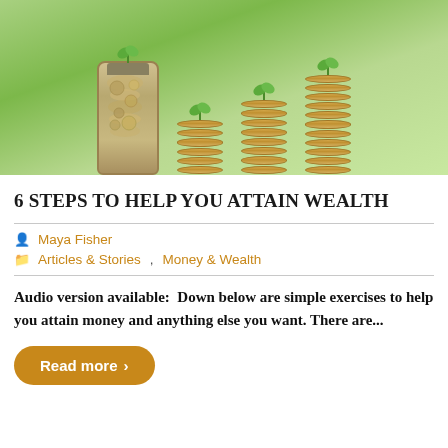[Figure (photo): Photo of a glass jar filled with coins and three growing stacks of coins with small green plant sprouts on top, arranged on a wooden surface with green bokeh background, representing financial growth.]
6 STEPS TO HELP YOU ATTAIN WEALTH
Maya Fisher
Articles & Stories, Money & Wealth
Audio version available:  Down below are simple exercises to help you attain money and anything else you want. There are...